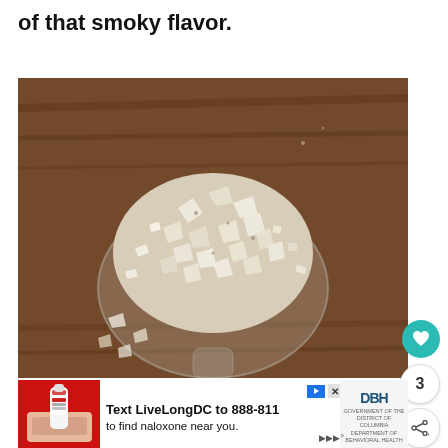of that smoky flavor.
[Figure (photo): Close-up photo of coarse flaky smoked salt piled on a spoon, with a dark brown wooden background. The salt crystals are large, irregular, and white/cream colored.]
[Figure (screenshot): Advertisement banner: 'Text LiveLongDC to 888-811 to find naloxone near you.' on white background with red left panel. DBH logo and government sponsor text on right side. Play button and X close button visible.]